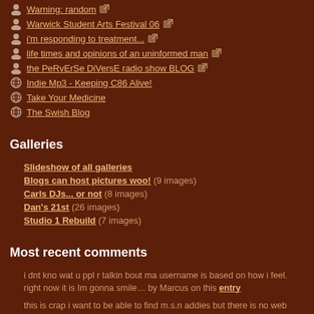Warning: random [external link]
Warwick Student Arts Festival 06 [external link]
i'm responding to treatment... [external link]
life times and opinions of an uninformed man [external link]
the PeRvErSe DiVersE radio show BLOG [external link]
Indie Mp3 - Keeping C86 Alive!
Take Your Medicine
The Swish Blog
Galleries
Slideshow of all galleries
Blogs can host pictures woo! (9 images)
Carls DJs... or not (8 images)
Dan's 21st (26 images)
Studio 1 Rebuild (7 images)
Most recent comments
i dnt kno wat u ppl r talkin bout ma username is based on how i feel. right now it is Im gonna smile… by Marcus on this entry
this is crap i want to be able to find m.s.n addies but there is no web sitie that i can find them o… by amy on this entry
I put them somewhere safe but can't remember where. by on this entry